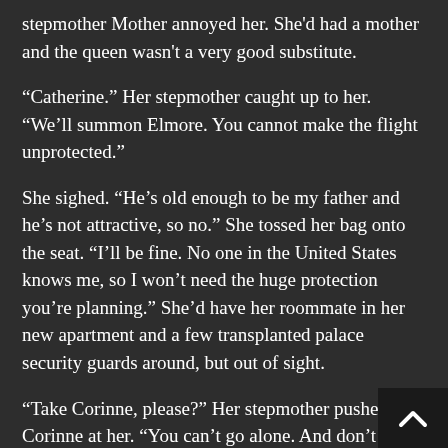stepmother Mother annoyed her. She'd had a mother and the queen wasn't a very good substitute.
“Catherine.” Her stepmother caught up to her. “We’ll summon Elmore. You cannot make the flight unprotected.”
She sighed. “He’s old enough to be my father and he’s not attractive, so no.” She tossed her bag onto the seat. “I’ll be fine. No one in the United States knows me, so I won’t need the huge protection you’re planning.” She’d have her roommate in her new apartment and a few transplanted palace security guards around, but out of sight.
“Take Corinne, please?” Her stepmother pushed Corinne at her. “You can’t go alone. And don’t forget, you need to have an approved consort by the time of your official